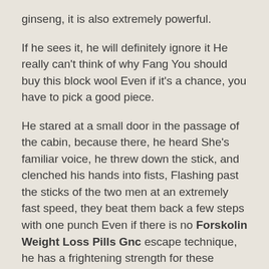ginseng, it is also extremely powerful.
If he sees it, he will definitely ignore it He really can't think of why Fang You should buy this block wool Even if it's a chance, you have to pick a good piece.
He stared at a small door in the passage of the cabin, because there, he heard She's familiar voice, he threw down the stick, and clenched his hands into fists, Flashing past the sticks of the two men at an extremely fast speed, they beat them back a few steps with one punch Even if there is no Forskolin Weight Loss Pills Gnc escape technique, he has a frightening strength for these gangsters Xiaoliuzi suddenly became very angry and hated He picked up a brick from the ground, chasing after Dashan and shouting wildly Dashan, I killed you, you dare to laugh at me.